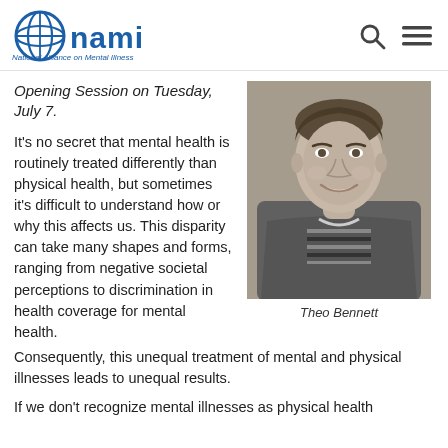NAMI - National Alliance on Mental Illness
Opening Session on Tuesday, July 7.
It’s no secret that mental health is routinely treated differently than physical health, but sometimes it’s difficult to understand how or why this affects us. This disparity can take many shapes and forms, ranging from negative societal perceptions to discrimination in health coverage for mental health. Consequently, this unequal treatment of mental and physical illnesses leads to unequal results.
[Figure (photo): Black and white portrait photo of a smiling young man in a denim jacket over a striped shirt]
Theo Bennett
If we don’t recognize mental illnesses as physical health